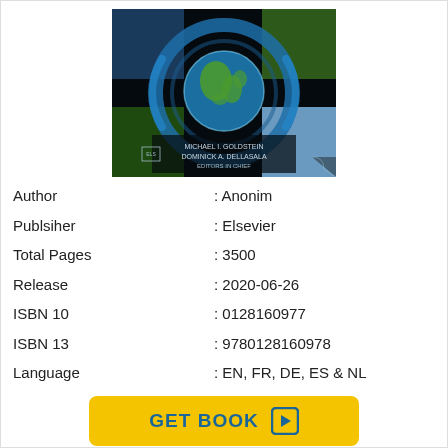[Figure (photo): Book cover showing Earth globe with blue metallic ring surrounded by nature scenes (ocean, forest, mountains), with authors Michael I. Goldstein and Dominick A. DellaSala listed as Editors in Chief, Elsevier publisher logo]
| Author | : Anonim |
| Publsiher | : Elsevier |
| Total Pages | : 3500 |
| Release | : 2020-06-26 |
| ISBN 10 | : 0128160977 |
| ISBN 13 | : 9780128160978 |
| Language | : EN, FR, DE, ES & NL |
GET BOOK